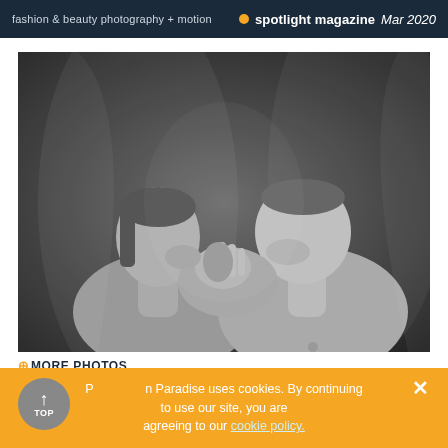fashion & beauty photography + motion  ● spotlight magazine Mar 2020
[Figure (photo): Black and white artistic fashion/editorial photograph of two people facing each other closely, one holding the other's face, both partially draped in a sheer veil, dark background]
⊕MORE PHOTOS
[Figure (photo): Color photograph of a person with dark hair against a teal/turquoise background, partially cropped]
P...on Paradise uses cookies. By continuing to use our site, you are agreeing to our cookie policy.